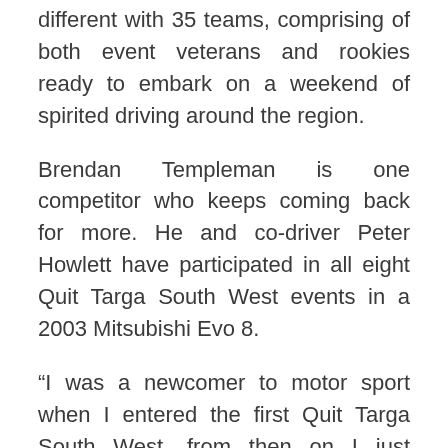different with 35 teams, comprising of both event veterans and rookies ready to embark on a weekend of spirited driving around the region.
Brendan Templeman is one competitor who keeps coming back for more. He and co-driver Peter Howlett have participated in all eight Quit Targa South West events in a 2003 Mitsubishi Evo 8.
“I was a newcomer to motor sport when I entered the first Quit Targa South West, from then on I just couldn’t kick the addiction of Targas!” said Mr. Templeman.
“The car has been with us from day one and I could not imagine competing in anything else. The Evo is really suited to the event especially in th